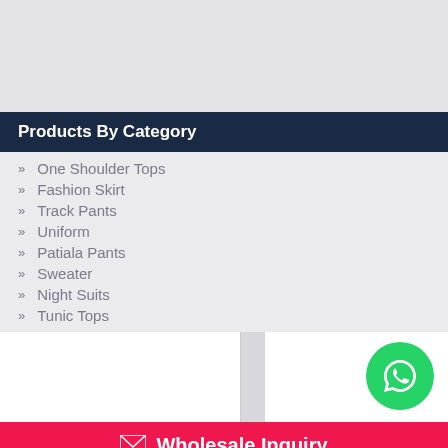Products By Category
One Shoulder Tops
Fashion Skirt
Track Pants
Uniform
Patiala Pants
Sweater
Night Suits
Tunic Tops
[Figure (logo): WhatsApp icon button (green circle with phone handset)]
Wholesale Inquiry